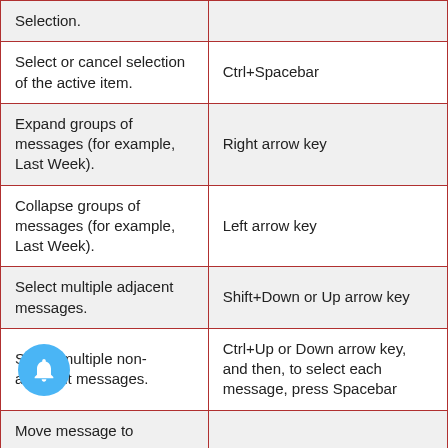| Action | Shortcut |
| --- | --- |
| Selection. |  |
| Select or cancel selection of the active item. | Ctrl+Spacebar |
| Expand groups of messages (for example, Last Week). | Right arrow key |
| Collapse groups of messages (for example, Last Week). | Left arrow key |
| Select multiple adjacent messages. | Shift+Down or Up arrow key |
| Select multiple non-adjacent messages. | Ctrl+Up or Down arrow key, and then, to select each message, press Spacebar |
| Move message to |  |